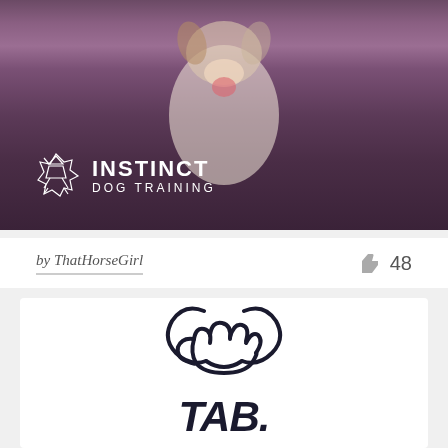[Figure (photo): Photo of a white and tan dog running outdoors among pink flowers, with Instinct Dog Training logo overlay in white at bottom left]
by ThatHorseGirl
48
[Figure (logo): TAB logo showing a stylized fist/hand holding a bone or treat shape, with the text TAB below in bold brush lettering, all in dark navy/black]